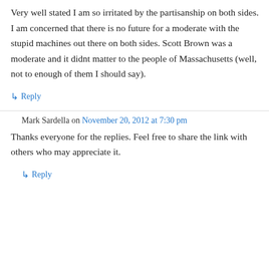Very well stated I am so irritated by the partisanship on both sides. I am concerned that there is no future for a moderate with the stupid machines out there on both sides. Scott Brown was a moderate and it didnt matter to the people of Massachusetts (well, not to enough of them I should say).
↳ Reply
Mark Sardella on November 20, 2012 at 7:30 pm
Thanks everyone for the replies. Feel free to share the link with others who may appreciate it.
↳ Reply